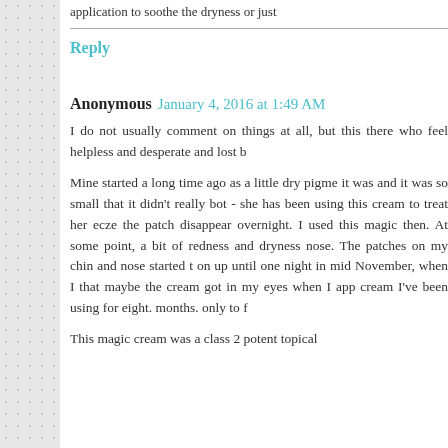application to soothe the dryness or just
Reply
Anonymous  January 4, 2016 at 1:49 AM
I do not usually comment on things at all, but this there who feel helpless and desperate and lost b
Mine started a long time ago as a little dry pigme it was and it was so small that it didn't really bot - she has been using this cream to treat her ecze the patch disappear overnight. I used this magic then. At some point, a bit of redness and dryness nose. The patches on my chin and nose started t on up until one night in mid November, when I that maybe the cream got in my eyes when I ap cream I've been using for eight. months. only to f
This magic cream was a class 2 potent topical